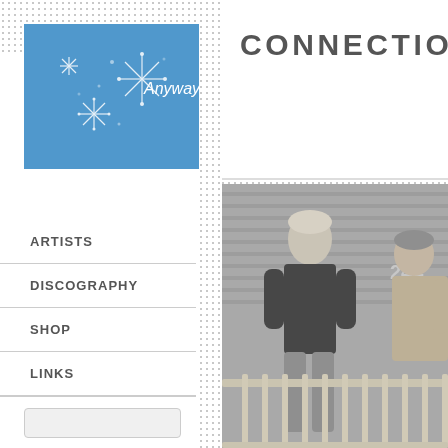[Figure (logo): Blue square logo with snowflake/star design and text 'Anyway']
CONNECTIONS
ARTISTS
DISCOGRAPHY
SHOP
LINKS
[Figure (photo): Black and white photo of two people standing on a porch/steps in front of a building with number 244 visible]